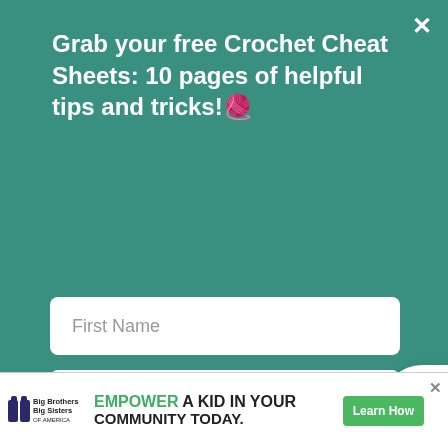Grab your free Crochet Cheat Sheets: 10 pages of helpful tips and tricks!🧶
First Name
Email Address
GET IT!
love with these and had to have this pattern. Can't wait to make a bunch of them. you!"
[Figure (infographic): What's Next panel with crochet heart image thumbnail and text 'Free Crochet Heart Pattern']
[Figure (infographic): Advertisement banner: Big Brothers Big Sisters logo, 'EMPOWER A KID IN YOUR COMMUNITY TODAY.' text, and 'Learn How' green button]